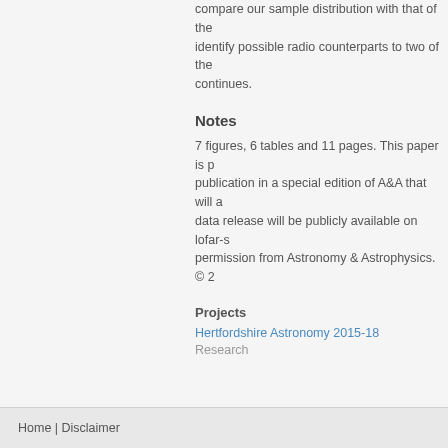compare our sample distribution with that of the identify possible radio counterparts to two of the continues.
Notes
7 figures, 6 tables and 11 pages. This paper is publication in a special edition of A&A that will a data release will be publicly available on lofar-s permission from Astronomy & Astrophysics. © 2
Projects
Hertfordshire Astronomy 2015-18
Research
Home | Disclaimer